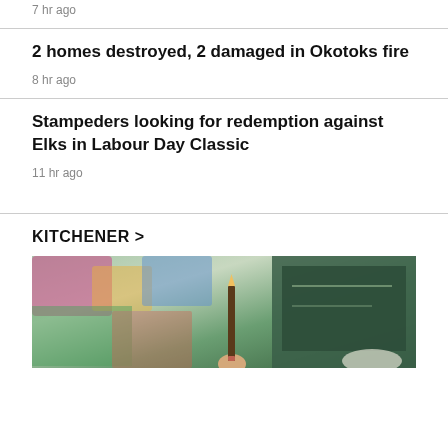7 hr ago
2 homes destroyed, 2 damaged in Okotoks fire
8 hr ago
Stampeders looking for redemption against Elks in Labour Day Classic
11 hr ago
KITCHENER >
[Figure (photo): A person holding a pencil in a colorful classroom setting with a chalkboard in the background.]